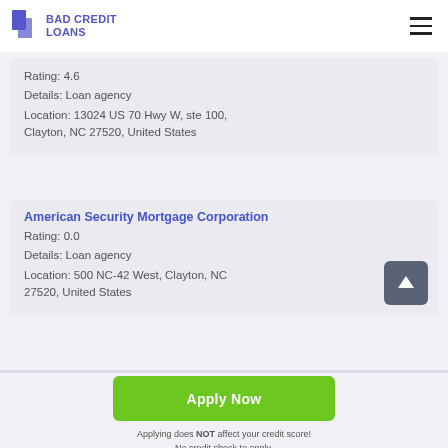BAD CREDIT LOANS
Rating: 4.6
Details: Loan agency
Location: 13024 US 70 Hwy W, ste 100, Clayton, NC 27520, United States
American Security Mortgage Corporation
Rating: 0.0
Details: Loan agency
Location: 500 NC-42 West, Clayton, NC 27520, United States
Apply Now
Applying does NOT affect your credit score!
No credit check to apply.